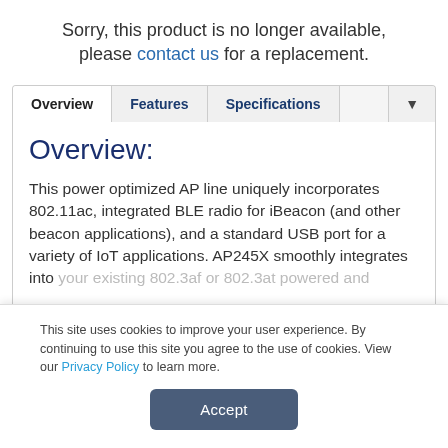Sorry, this product is no longer available, please contact us for a replacement.
Overview | Features | Specifications
Overview:
This power optimized AP line uniquely incorporates 802.11ac, integrated BLE radio for iBeacon (and other beacon applications), and a standard USB port for a variety of IoT applications. AP245X smoothly integrates into your existing 802.3af or 802.3at powered and
This site uses cookies to improve your user experience. By continuing to use this site you agree to the use of cookies. View our Privacy Policy to learn more.
Accept